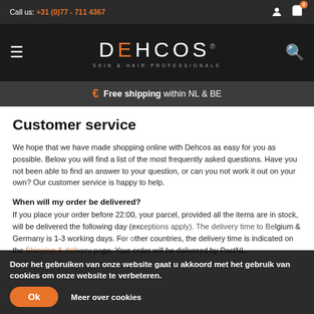Call us: +31 (0)77 - 711 4367
[Figure (logo): Dehcos Skin & Hair Professionals logo on dark background with hamburger menu and search icons]
€ Free shipping within NL & BE
Customer service
We hope that we have made shopping online with Dehcos as easy for you as possible. Below you will find a list of the most frequently asked questions. Have you not been able to find an answer to your question, or can you not work it out on your own? Our customer service is happy to help.
When will my order be delivered?
If you place your order before 22:00, your parcel, provided all the items are in stock, will be delivered the following day (exceptions apply). The delivery time to Belgium & Germany is 1-3 working days. For other countries, the delivery time is indicated on the Shipping & delivery page. Your order will be delivered by PostNL.
Door het gebruiken van onze website gaat u akkoord met het gebruik van cookies om onze website te verbeteren.
Meer over cookies
Ok